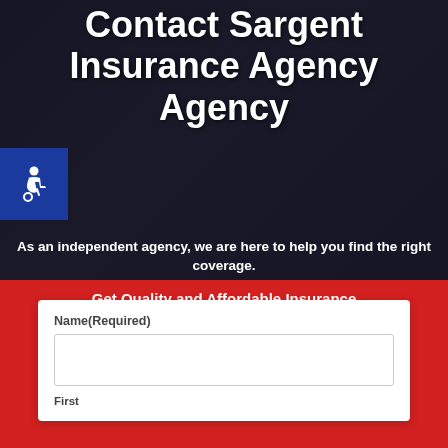Contact Sargent Insurance Agency Agency
As an independent agency, we are here to help you find the right coverage.
Name(Required)
First
Get Quality and Affordable Insurance
Get Quote Now  +
Call Us
Contact Us